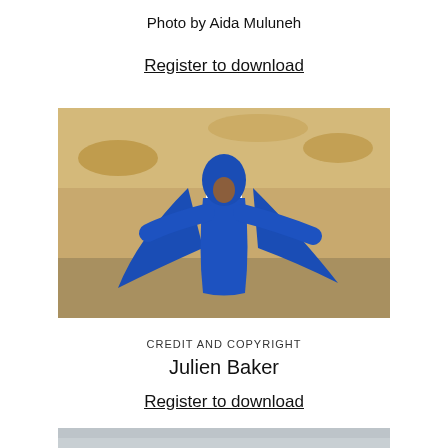Photo by Aida Muluneh
Register to download
[Figure (photo): A person wearing a blue outfit with a blue head wrap, spreading a large blue cloak, standing in an arid landscape with sandy/orange terrain in the background.]
CREDIT AND COPYRIGHT
Julien Baker
Register to download
[Figure (photo): Partially visible photo at the bottom of the page, showing a figure in an outdoor setting with an overcast sky.]